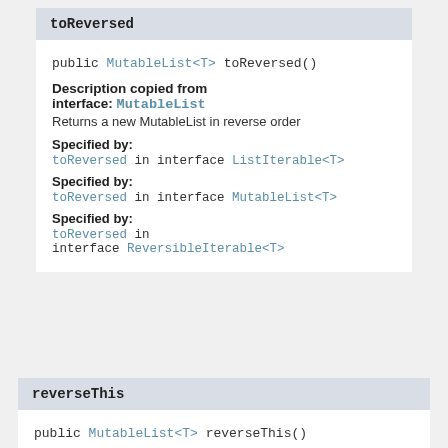toReversed
public MutableList<T> toReversed()
Description copied from interface: MutableList
Returns a new MutableList in reverse order
Specified by:
toReversed in interface ListIterable<T>
Specified by:
toReversed in interface MutableList<T>
Specified by:
toReversed in interface ReversibleIterable<T>
reverseThis
public MutableList<T> reverseThis()
Description copied from